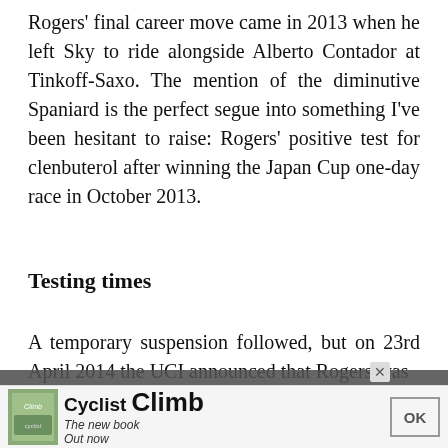Rogers' final career move came in 2013 when he left Sky to ride alongside Alberto Contador at Tinkoff-Saxo. The mention of the diminutive Spaniard is the perfect segue into something I've been hesitant to raise: Rogers' positive test for clenbuterol after winning the Japan Cup one-day race in October 2013.
Testing times
A temporary suspension followed, but on 23rd April 2014 the UCI announced that Rogers was
This website uses cookies to help us give you the best experience when you visit our website. By continuing to use this website, you consent to our use of these cookies.
[Figure (screenshot): Advertisement bar for 'Cyclist Climb' book with book cover image, brand name, tagline 'The new book Out now', and an OK button]